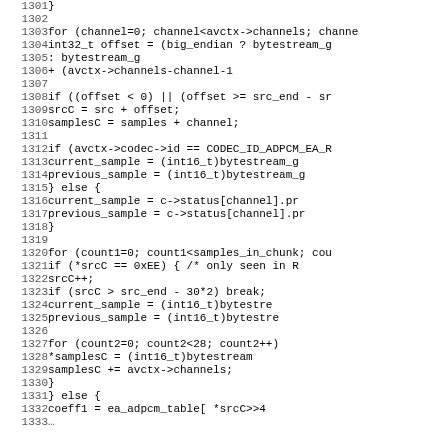Source code listing, lines 1301-1332+, C code for ADPCM decoder